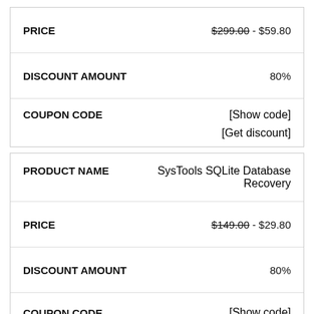| Field | Value |
| --- | --- |
| PRICE | $299.00 - $59.80 |
| DISCOUNT AMOUNT | 80% |
| COUPON CODE | [Show code] [Get discount] |
| Field | Value |
| --- | --- |
| PRODUCT NAME | SysTools SQLite Database Recovery |
| PRICE | $149.00 - $29.80 |
| DISCOUNT AMOUNT | 80% |
| COUPON CODE | [Show code] |